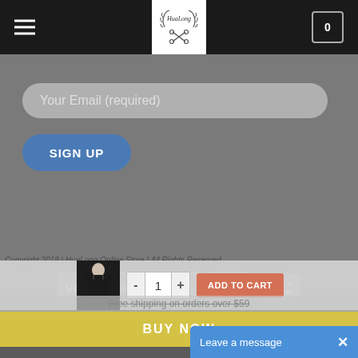[Figure (screenshot): Website header with hamburger menu on left, HuaLong logo in center, cart icon with 0 on right, black background]
Your Email (required)
[Figure (screenshot): SIGN UP button, blue rounded rectangle]
[Figure (logo): Payment method icons: VISA, PayPal, stripe, MasterCard, CASH ON DELIVERY]
ABOUT  BLOG  CONTACT  FAQ
[Figure (screenshot): Product sticky bar with black tank top image, quantity selector showing 1, ADD TO CART button in orange-red]
Free shipping on orders over $59
[Figure (screenshot): BUY NOW yellow bar]
Leave a message  ×